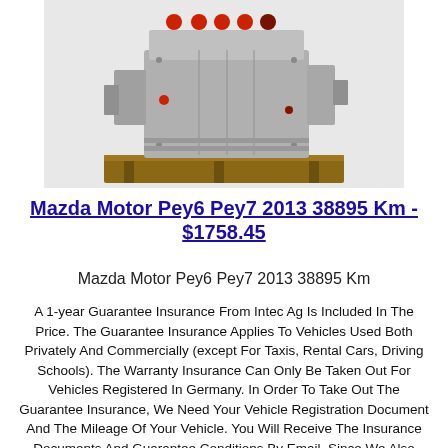[Figure (photo): Photo of a Mazda engine (Pey6 Pey7) sitting on a wooden pallet against a white background.]
Mazda Motor Pey6 Pey7 2013 38895 Km - $1758.45
Mazda Motor Pey6 Pey7 2013 38895 Km
A 1-year Guarantee Insurance From Intec Ag Is Included In The Price. The Guarantee Insurance Applies To Vehicles Used Both Privately And Commercially (except For Taxis, Rental Cars, Driving Schools). The Warranty Insurance Can Only Be Taken Out For Vehicles Registered In Germany. In Order To Take Out The Guarantee Insurance, We Need Your Vehicle Registration Document And The Mileage Of Your Vehicle. You Will Receive The Insurance Documents And Guarantee Conditions By Email. Since We Also Offer Our Spare Parts On Other Portals We...